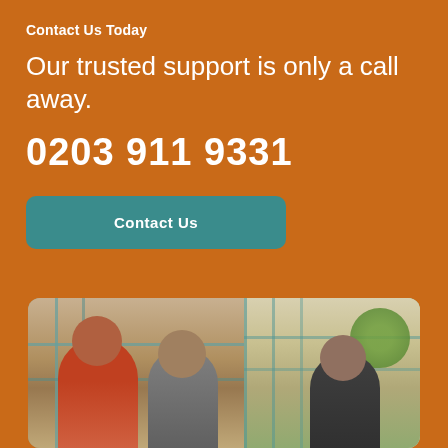Contact Us Today
Our trusted support is only a call away.
0203 911 9331
Contact Us
[Figure (photo): Photo of people (two women and a man) standing outside a building with windows, in a garden setting]